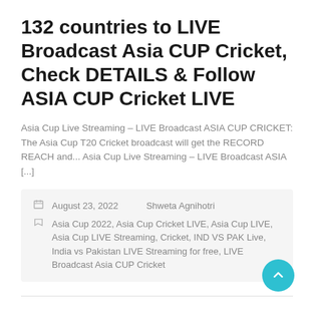132 countries to LIVE Broadcast Asia CUP Cricket, Check DETAILS & Follow ASIA CUP Cricket LIVE
Asia Cup Live Streaming – LIVE Broadcast ASIA CUP CRICKET: The Asia Cup T20 Cricket broadcast will get the RECORD REACH and... Asia Cup Live Streaming – LIVE Broadcast ASIA [...]
August 23, 2022   Shweta Agnihotri
Asia Cup 2022, Asia Cup Cricket LIVE, Asia Cup LIVE, Asia Cup LIVE Streaming, Cricket, IND VS PAK Live, India vs Pakistan LIVE Streaming for free, LIVE Broadcast Asia CUP Cricket
Barcelona says Aguero out for 3 months